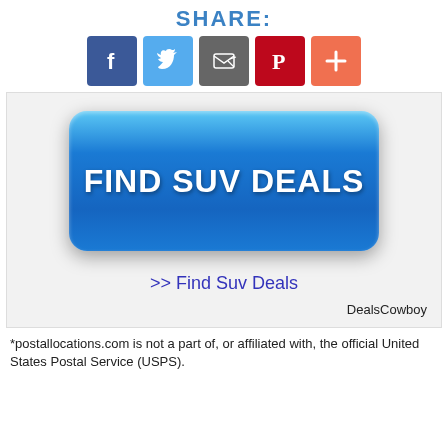SHARE:
[Figure (infographic): Social share icons: Facebook (blue), Twitter (light blue), Email (gray), Pinterest (red), Plus/More (orange-red)]
[Figure (infographic): Large blue glossy button reading FIND SUV DEALS with link text >> Find Suv Deals and DealsCowboy attribution]
*postallocations.com is not a part of, or affiliated with, the official United States Postal Service (USPS).